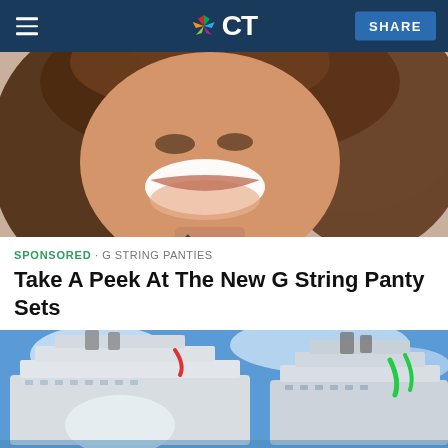NBC CT | SHARE
[Figure (photo): Close-up photo of a smiling woman with long brown hair, wearing a black top, against a light background]
SPONSORED · G STRING PANTIES
Take A Peek At The New G String Panty Sets
[Figure (photo): Photo of large cruise ships against a blue sky with clouds]